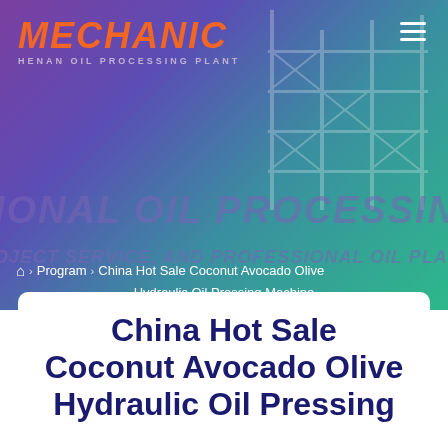[Figure (screenshot): Website hero banner with purple-to-green gradient background and industrial building/scaffolding image overlay. Contains MECHANIC HENAN OIL PROCESSING PLANT logo in top-left and hamburger menu icon in top-right. Text overlays read 'IONAL OIL PROCESSING' and 'OJECT SERVICE, AND PROFESSIONAL OIL PLANT TECHN'.]
MECHANIC HENAN OIL PROCESSING PLANT
🏠 › Program › China Hot Sale Coconut Avocado Olive Hydraulic Oil Pressing Machine
China Hot Sale Coconut Avocado Olive Hydraulic Oil Pressing